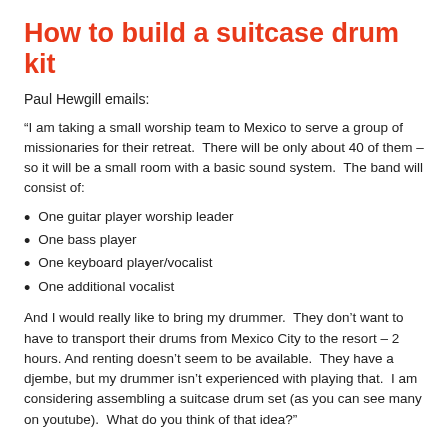How to build a suitcase drum kit
Paul Hewgill emails:
“I am taking a small worship team to Mexico to serve a group of missionaries for their retreat.  There will be only about 40 of them – so it will be a small room with a basic sound system.  The band will consist of:
One guitar player worship leader
One bass player
One keyboard player/vocalist
One additional vocalist
And I would really like to bring my drummer.  They don’t want to have to transport their drums from Mexico City to the resort – 2 hours. And renting doesn’t seem to be available.  They have a djembe, but my drummer isn’t experienced with playing that.  I am considering assembling a suitcase drum set (as you can see many on youtube).  What do you think of that idea?”